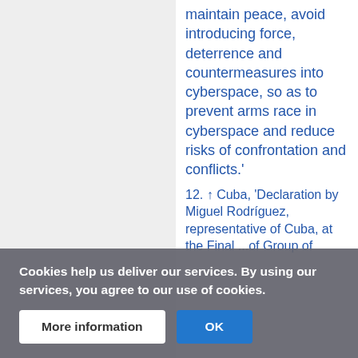maintain peace, avoid introducing force, deterrence and countermeasures into cyberspace, so as to prevent arms race in cyberspace and reduce risks of confrontation and conflicts.'
12. ↑ Cuba, 'Declaration by Miguel Rodríguez, representative of Cuba, at the Final ... of Group of
Cookies help us deliver our services. By using our services, you agree to our use of cookies.